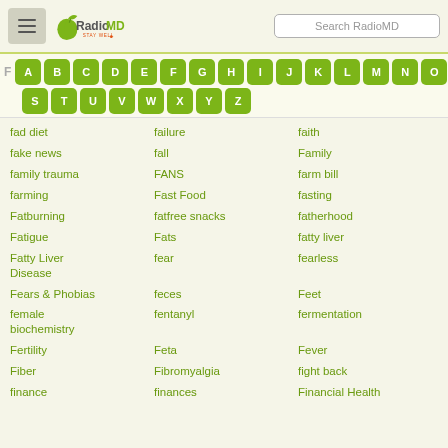RadioMD - Stay Well | Search RadioMD
[Figure (other): Alphabetical navigation bar showing letters A-R on first row and S-Z on second row, with F highlighted label, green rounded square buttons]
fad diet
failure
faith
fake news
fall
Family
family trauma
FANS
farm bill
farming
Fast Food
fasting
Fatburning
fatfree snacks
fatherhood
Fatigue
Fats
fatty liver
Fatty Liver Disease
fear
fearless
Fears & Phobias
feces
Feet
female biochemistry
fentanyl
fermentation
Fertility
Feta
Fever
Fiber
Fibromyalgia
fight back
finance
finances
Financial Health